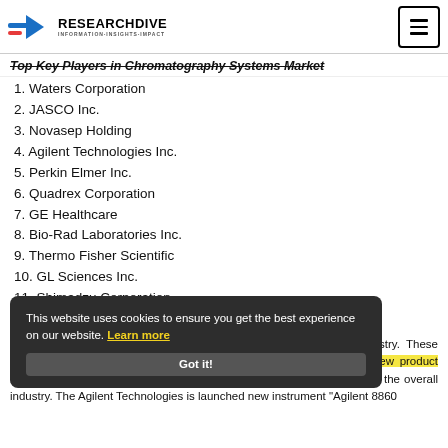Research Dive – Information-Insights-Impact
Top Key Players in Chromatography Systems Market
1. Waters Corporation
2. JASCO Inc.
3. Novasep Holding
4. Agilent Technologies Inc.
5. Perkin Elmer Inc.
6. Quadrex Corporation
7. GE Healthcare
8. Bio-Rad Laboratories Inc.
9. Thermo Fisher Scientific
10. GL Sciences Inc.
11. Shimadzu Corporation
12. Pall Corporation
some of the key participants in global chromatography system industry. These companies are adopting new strategies such as R&D investments, new product launches and mergers and acquisitions to gain highest market share in the overall industry. The Agilent Technologies is launched new instrument "Agilent 8860